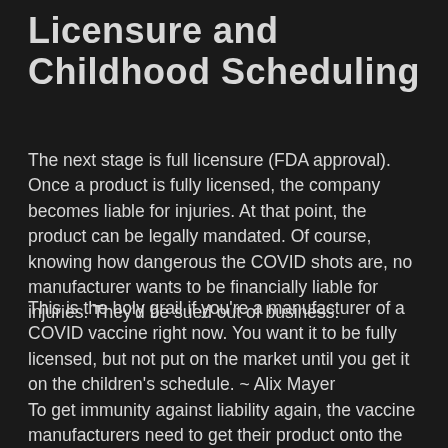Licensure and Childhood Scheduling
The next stage is full licensure (FDA approval). Once a product is fully licensed, the company becomes liable for injuries. At that point, the product can be legally mandated. Of course, knowing how dangerous the COVID shots are, no manufacturer wants to be financially liable for injuries. They'd be sued out of business.
This is the holy grail if you're a manufacturer of a COVID vaccine right now. You want it to be fully licensed, but not put on the market until you get it on the children's schedule. ~ Alix Mayer
To get immunity against liability again, the vaccine manufacturers need to get their product onto the